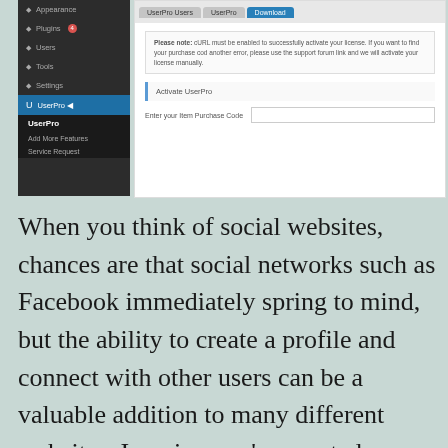[Figure (screenshot): WordPress admin sidebar showing Appearance, Plugins (with badge 4), Users, Tools, Settings, and UserPro menu items. Main panel shows UserPro plugin settings with tabs, a cURL notice, Activate UserPro section, and Enter your Item Purchase Code input field.]
When you think of social websites, chances are that social networks such as Facebook immediately spring to mind, but the ability to create a profile and connect with other users can be a valuable addition to many different websites. Imagine you’ve created a website for your business; you could use social features to build an